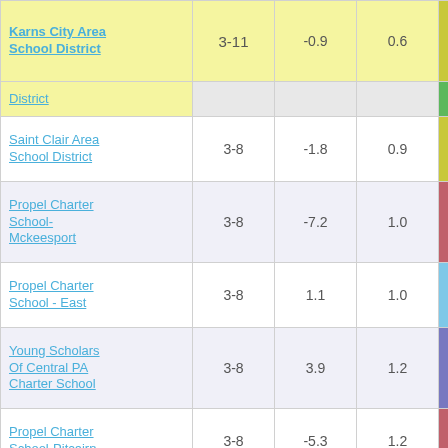| School/District | Grades | Score1 | Score2 | Final |
| --- | --- | --- | --- | --- |
| Karns City Area School District | 3-11 | -0.9 | 0.6 | -1.37 |
| District |  |  |  |  |
| Saint Clair Area School District | 3-8 | -1.8 | 0.9 | -1.95 |
| Propel Charter School-Mckeesport | 3-8 | -7.2 | 1.0 | -7.15 |
| Propel Charter School - East | 3-8 | 1.1 | 1.0 | 1.08 |
| Young Scholars Of Central PA Charter School | 3-8 | 3.9 | 1.2 | 3.09 |
| Propel Charter School-Pitcairn | 3-8 | -5.3 | 1.2 | -4.63 |
| Howard Gardner Multiple Intelligence Charter School | 3-8 | -1.2 | 1.2 | -1.03 |